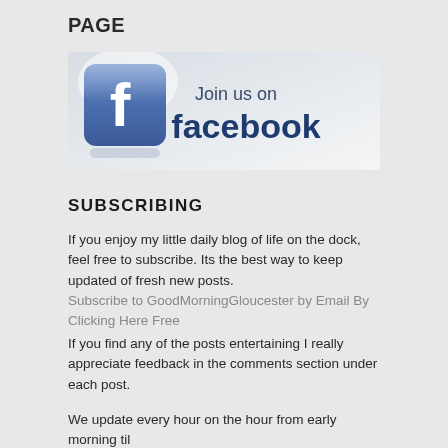PAGE
[Figure (logo): Join us on Facebook promotional image with Facebook logo icon and text 'Join us on facebook']
SUBSCRIBING
If you enjoy my little daily blog of life on the dock, feel free to subscribe. Its the best way to keep updated of fresh new posts.
Subscribe to GoodMorningGloucester by Email By Clicking Here Free
If you find any of the posts entertaining I really appreciate feedback in the comments section under each post.
We update every hour on the hour from early morning til